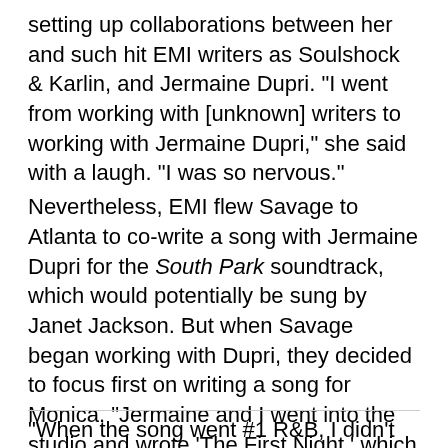setting up collaborations between her and such hit EMI writers as Soulshock & Karlin, and Jermaine Dupri. "I went from working with [unknown] writers to working with Jermaine Dupri," she said with a laugh. "I was so nervous." Nevertheless, EMI flew Savage to Atlanta to co-write a song with Jermaine Dupri for the South Park soundtrack, which would potentially be sung by Janet Jackson. But when Savage began working with Dupri, they decided to focus first on writing a song for Monica. "Jermaine and I went into the studio and wrote 'The First Night,' which was the first song we wrote together," recalled Savage. This song was selected as the second single from Monica's album, The Boy Is Mine. In mid-1998, the song become a #1 hit on both Billboard's "Hot 100" singles chart and the R&B chart.
"When the song went #1 R&B, I didn't know what to...